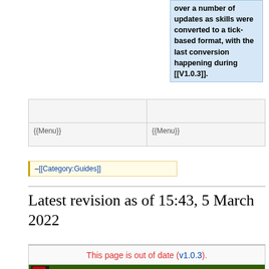over a number of updates as skills were converted to a tick-based format, with the last conversion happening during [[V1.0.3]].
|  |  |
| {{Menu}} | {{Menu}} |
–[[Category:Guides]]
Latest revision as of 15:43, 5 March 2022
This page is out of date (v1.0.3).
[Figure (screenshot): Game screenshot showing a dark interface with woodcutting skill panel]